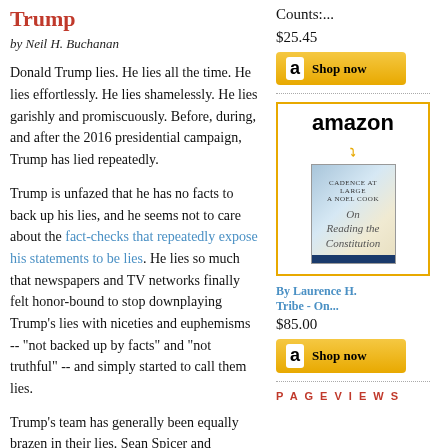Trump
by Neil H. Buchanan
Donald Trump lies.  He lies all the time.  He lies effortlessly.  He lies shamelessly.  He lies garishly and promiscuously.  Before, during, and after the 2016 presidential campaign, Trump has lied repeatedly.
Trump is unfazed that he has no facts to back up his lies, and he seems not to care about the fact-checks that repeatedly expose his statements to be lies.  He lies so much that newspapers and TV networks finally felt honor-bound to stop downplaying Trump's lies with niceties and euphemisms -- "not backed up by facts" and "not truthful" -- and simply started to call them lies.
Trump's team has generally been equally brazen in their lies.  Sean Spicer and Kellyanne Conway
$25.45
[Figure (screenshot): Amazon Shop now button with golden background]
[Figure (screenshot): Amazon widget with logo, book cover image of 'On Reading the Constitution' by Laurence H. Tribe]
By Laurence H. Tribe - On...
$85.00
[Figure (screenshot): Amazon Shop now button with golden background]
PAGEVIEWS